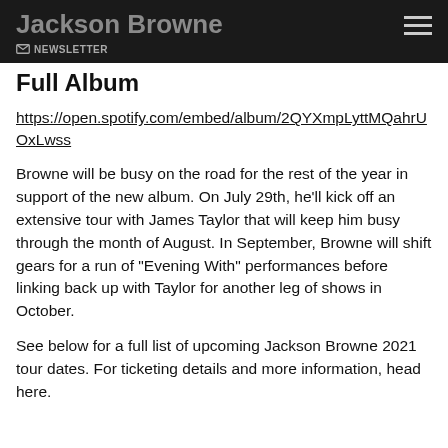Jackson Browne
NEWSLETTER
Full Album
https://open.spotify.com/embed/album/2QYXmpLyttMQahrUOxLwss
Browne will be busy on the road for the rest of the year in support of the new album. On July 29th, he’ll kick off an extensive tour with James Taylor that will keep him busy through the month of August. In September, Browne will shift gears for a run of “Evening With” performances before linking back up with Taylor for another leg of shows in October.
See below for a full list of upcoming Jackson Browne 2021 tour dates. For ticketing details and more information, head here.